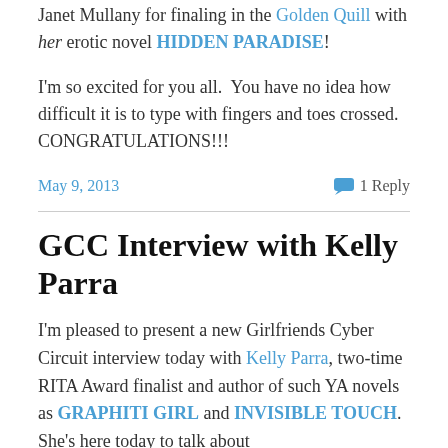Janet Mullany for finaling in the Golden Quill with her erotic novel HIDDEN PARADISE!
I'm so excited for you all.  You have no idea how difficult it is to type with fingers and toes crossed. CONGRATULATIONS!!!
May 9, 2013    1 Reply
GCC Interview with Kelly Parra
I'm pleased to present a new Girlfriends Cyber Circuit interview today with Kelly Parra, two-time RITA Award finalist and author of such YA novels as GRAPHITI GIRL and INVISIBLE TOUCH.  She's here today to talk about